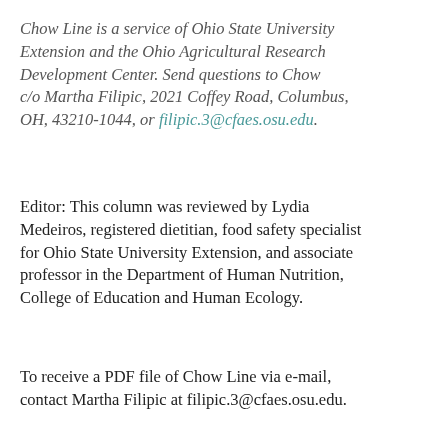Chow Line is a service of Ohio State University Extension and the Ohio Agricultural Research Development Center. Send questions to Chow Line c/o Martha Filipic, 2021 Coffey Road, Columbus, OH, 43210-1044, or filipic.3@cfaes.osu.edu.
Editor: This column was reviewed by Lydia Medeiros, registered dietitian, food safety specialist for Ohio State University Extension, and associate professor in the Department of Human Nutrition, College of Education and Human Ecology.
To receive a PDF file of Chow Line via e-mail, contact Martha Filipic at filipic.3@cfaes.osu.edu.